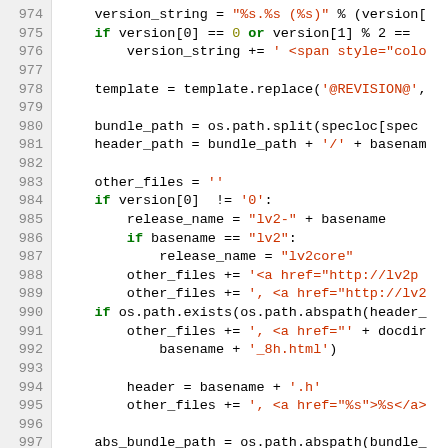[Figure (screenshot): Source code screenshot showing Python code lines 974-1003 with syntax highlighting. Line numbers in gray left column, keywords in green bold, string literals in red/orange.]